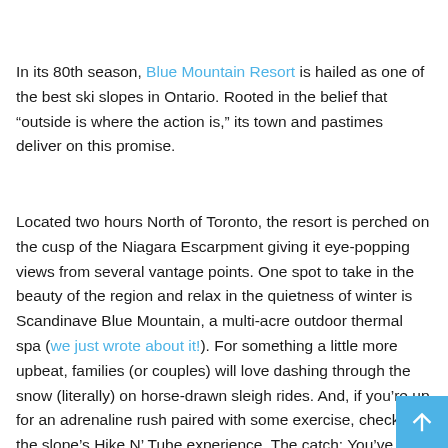In its 80th season, Blue Mountain Resort is hailed as one of the best ski slopes in Ontario. Rooted in the belief that “outside is where the action is,” its town and pastimes deliver on this promise.
Located two hours North of Toronto, the resort is perched on the cusp of the Niagara Escarpment giving it eye-popping views from several vantage points. One spot to take in the beauty of the region and relax in the quietness of winter is Scandinave Blue Mountain, a multi-acre outdoor thermal spa (we just wrote about it!). For something a little more upbeat, families (or couples) will love dashing through the snow (literally) on horse-drawn sleigh rides. And, if you’re up for an adrenaline rush paired with some exercise, check out the slope’s Hike N’ Tube experience. The catch: You’ve got to c